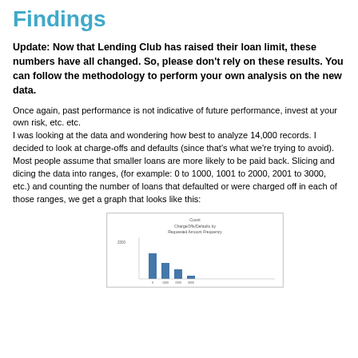Findings
Update: Now that Lending Club has raised their loan limit, these numbers have all changed. So, please don't rely on these results. You can follow the methodology to perform your own analysis on the new data.
Once again, past performance is not indicative of future performance, invest at your own risk, etc. etc.
I was looking at the data and wondering how best to analyze 14,000 records. I decided to look at charge-offs and defaults (since that's what we're trying to avoid). Most people assume that smaller loans are more likely to be paid back. Slicing and dicing the data into ranges, (for example: 0 to 1000, 1001 to 2000, 2001 to 3000, etc.) and counting the number of loans that defaulted or were charged off in each of those ranges, we get a graph that looks like this:
[Figure (bar-chart): Partial bar chart showing charge-offs/defaults by requested amount frequency ranges]